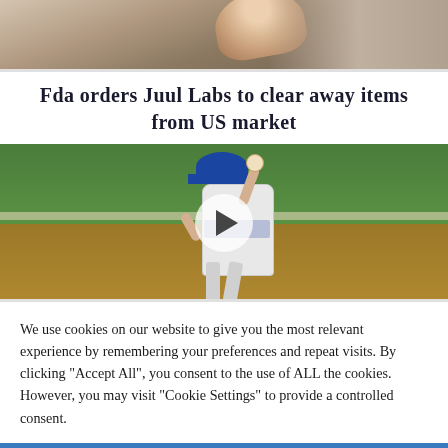[Figure (photo): Close-up photo of a hand/thumb holding a device, cropped at top of page]
Fda orders Juul Labs to clear away items from US market
[Figure (photo): Baseball pitcher in Dodgers uniform winding up to throw a ball, with a video play button overlay]
We use cookies on our website to give you the most relevant experience by remembering your preferences and repeat visits. By clicking "Accept All", you consent to the use of ALL the cookies. However, you may visit "Cookie Settings" to provide a controlled consent.
Cookie Settings | Accept All